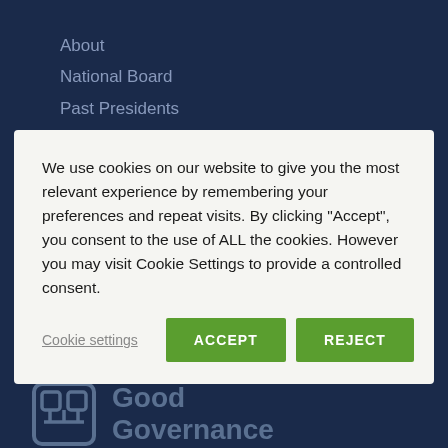About
National Board
Past Presidents
Contact
We use cookies on our website to give you the most relevant experience by remembering your preferences and repeat visits. By clicking “Accept”, you consent to the use of ALL the cookies. However you may visit Cookie Settings to provide a controlled consent.
Cookie settings | ACCEPT | REJECT
[Figure (other): Social media icons for Facebook, LinkedIn, and Twitter on dark background]
[Figure (logo): Good Governance logo with stylized bracket icon and text]